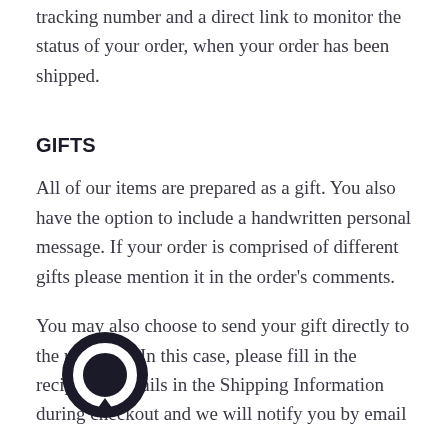tracking number and a direct link to monitor the status of your order, when your order has been shipped.
GIFTS
All of our items are prepared as a gift. You also have the option to include a handwritten personal message. If your order is comprised of different gifts please mention it in the order's comments.
You may also choose to send your gift directly to the recipient. In this case, please fill in the recipient's details in the Shipping Information during checkout and we will notify you by email